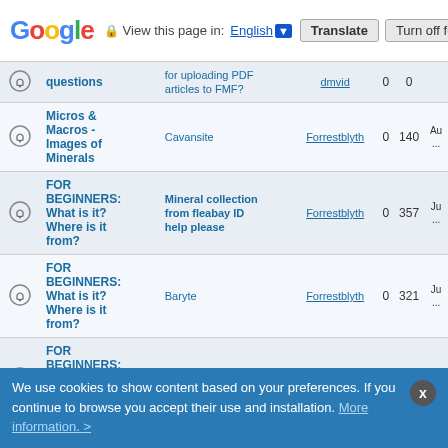Google | View this page in: English [v] | Translate | Turn off for: S
|  | Forum | Topic | User | Replies | Views | Last |
| --- | --- | --- | --- | --- | --- | --- |
|  | questions | for uploading PDF articles to FMF? | dmvid | 0 | 0 |  |
|  | Micros & Macros - Images of Minerals | Cavansite | Forrestblyth | 0 | 140 | Au... |
|  | FOR BEGINNERS: What is it? Where is it from? | Mineral collection from fleabay ID help please | Forrestblyth | 0 | 357 | Ju... |
|  | FOR BEGINNERS: What is it? Where is it from? | Baryte | Forrestblyth | 0 | 321 | Ju... |
|  | FOR BEGINNERS: What is it? Where is it from? | Baryte | Forrestblyth | 0 | 275 | Ju... |
|  | Mineralogical... | Brazil Amethyst | Linus | 0 | 480 | Ma... |
We use cookies to show content based on your preferences. If you continue to browse you accept their use and installation. More information. >